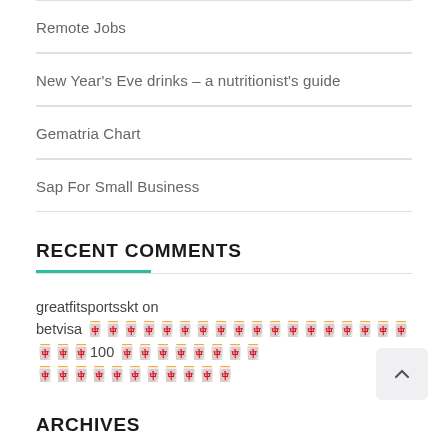Remote Jobs
New Year's Eve drinks – a nutritionist's guide
Gematria Chart
Sap For Small Business
RECENT COMMENTS
greatfitsportsskt on betvisa 🀄🀄🀄🀄🀄🀄🀄🀄🀄🀄🀄🀄🀄🀄🀄🀄🀄🀄🀄🀄🀄100 🀄🀄🀄🀄🀄🀄🀄🀄 🀄🀄🀄🀄🀄🀄🀄🀄🀄🀄🀄
ARCHIVES